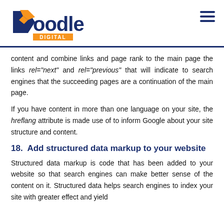Doodle Digital logo and navigation
content and combine links and page rank to the main page the links rel="next" and rel="previous" that will indicate to search engines that the succeeding pages are a continuation of the main page.
If you have content in more than one language on your site, the hreflang attribute is made use of to inform Google about your site structure and content.
18.  Add structured data markup to your website
Structured data markup is code that has been added to your website so that search engines can make better sense of the content on it. Structured data helps search engines to index your site with greater effect and yield